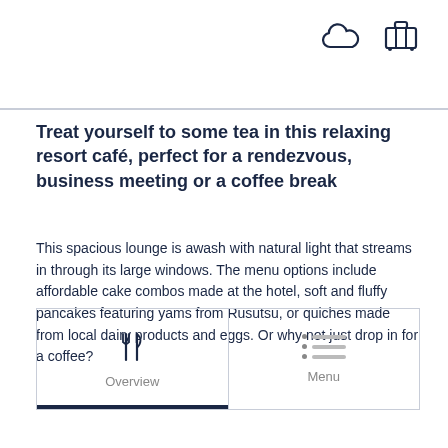[Figure (illustration): Cloud icon and luggage/travel icon in dark navy, top right header area]
Treat yourself to some tea in this relaxing resort café, perfect for a rendezvous, business meeting or a coffee break
This spacious lounge is awash with natural light that streams in through its large windows. The menu options include affordable cake combos made at the hotel, soft and fluffy pancakes featuring yams from Rusutsu, or quiches made from local dairy products and eggs. Or why not just drop in for a coffee?
[Figure (illustration): Navigation tab bar with two tabs: Overview (fork and knife icon, active with dark underline) and Menu (list icon with dots)]